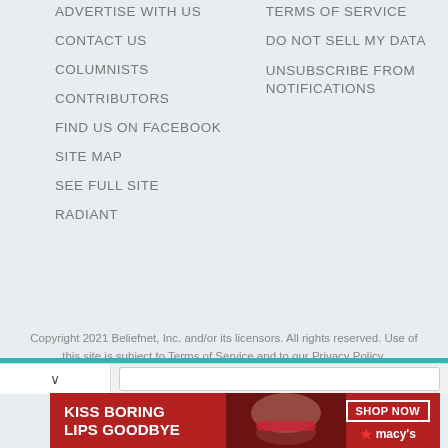ADVERTISE WITH US
CONTACT US
COLUMNISTS
CONTRIBUTORS
FIND US ON FACEBOOK
SITE MAP
SEE FULL SITE
RADIANT
TERMS OF SERVICE
DO NOT SELL MY DATA
UNSUBSCRIBE FROM NOTIFICATIONS
Copyright 2021 Beliefnet, Inc. and/or its licensors. All rights reserved. Use of this site is subject to Terms of Service and to our Privacy Policy. Constructed by Beliefnet.
[Figure (screenshot): Macy's advertisement banner: 'KISS BORING LIPS GOODBYE' with SHOP NOW button and Macy's star logo]